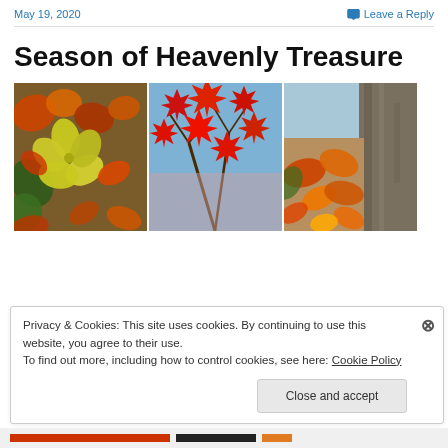May 19, 2020   Leave a Reply
Season of Heavenly Treasure
[Figure (photo): Three autumn leaf photos side by side: colorful fallen leaves on ground, red maple leaves against blue sky, orange leaves by tree bark]
Privacy & Cookies: This site uses cookies. By continuing to use this website, you agree to their use.
To find out more, including how to control cookies, see here: Cookie Policy

Close and accept